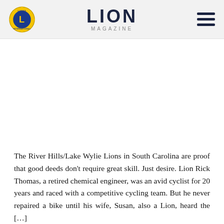LION MAGAZINE
The River Hills/Lake Wylie Lions in South Carolina are proof that good deeds don't require great skill. Just desire. Lion Rick Thomas, a retired chemical engineer, was an avid cyclist for 20 years and raced with a competitive cycling team. But he never repaired a bike until his wife, Susan, also a Lion, heard the […]